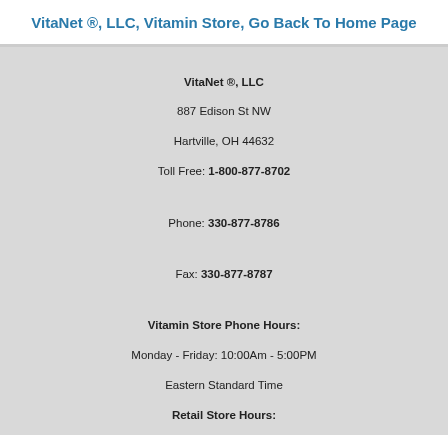VitaNet ®, LLC, Vitamin Store, Go Back To Home Page
VitaNet ®, LLC
887 Edison St NW
Hartville, OH 44632
Toll Free: 1-800-877-8702

Phone: 330-877-8786

Fax: 330-877-8787
Vitamin Store Phone Hours:
Monday - Friday: 10:00Am - 5:00PM
Eastern Standard Time
Retail Store Hours:
Monday: 10:00Am - 5:00PM
Tuesday:10:00Am - 6:00PM
Wed. - Friday:10:00Am - 5:00PM
Saturday: 9:00Am - 12:00 Noon
Eastern Standard Time
About Us
Vitamin Store Location